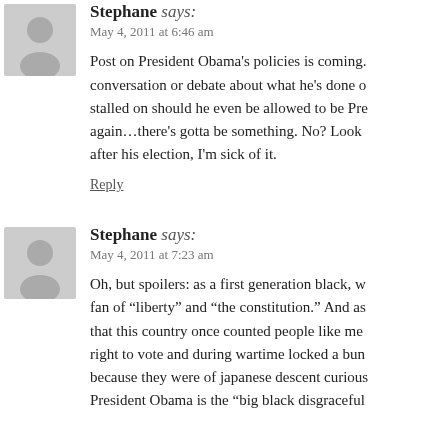Stephane says: May 4, 2011 at 6:46 am
Post on President Obama’s policies is coming. conversation or debate about what he’s done o stalled on should he even be allowed to be Pre again…there’s gotta be something. No? Look after his election, I’m sick of it.
Reply
Stephane says: May 4, 2011 at 7:23 am
Oh, but spoilers: as a first generation black, w fan of “liberty” and “the constitution.” And as that this country once counted people like me right to vote and during wartime locked a bun because they were of japanese descent curious President Obama is the “big black disgraceful